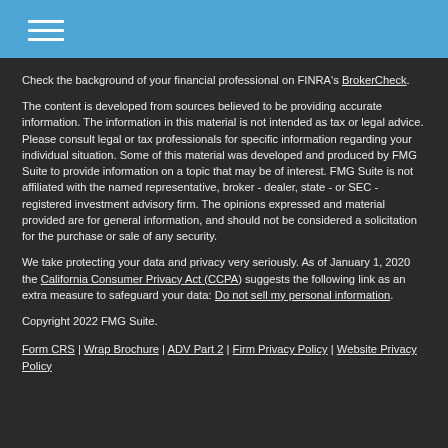[hamburger menu icon]
Check the background of your financial professional on FINRA's BrokerCheck.
The content is developed from sources believed to be providing accurate information. The information in this material is not intended as tax or legal advice. Please consult legal or tax professionals for specific information regarding your individual situation. Some of this material was developed and produced by FMG Suite to provide information on a topic that may be of interest. FMG Suite is not affiliated with the named representative, broker - dealer, state - or SEC - registered investment advisory firm. The opinions expressed and material provided are for general information, and should not be considered a solicitation for the purchase or sale of any security.
We take protecting your data and privacy very seriously. As of January 1, 2020 the California Consumer Privacy Act (CCPA) suggests the following link as an extra measure to safeguard your data: Do not sell my personal information.
Copyright 2022 FMG Suite.
Form CRS | Wrap Brochure | ADV Part 2 | Firm Privacy Policy | Website Privacy Policy